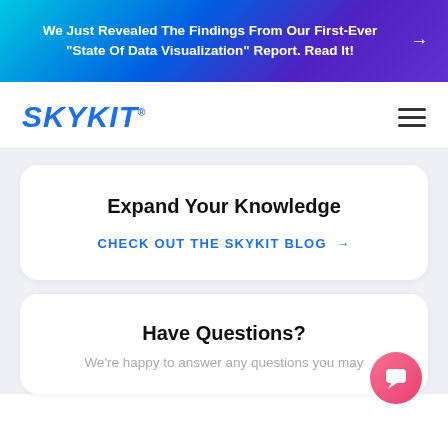We Just Revealed The Findings From Our First-Ever "State Of Data Visualization" Report. Read It!
[Figure (logo): SKYKIT logo in blue italic bold text with registered trademark symbol]
Expand Your Knowledge
CHECK OUT THE SKYKIT BLOG →
Have Questions?
We're happy to answer any questions you may